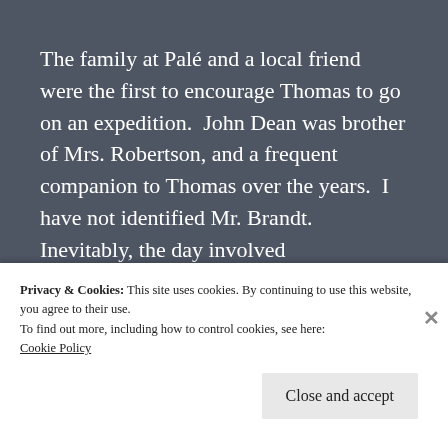The family at Palé and a local friend were the first to encourage Thomas to go on an expedition.  John Dean was brother of Mrs. Robertson, and a frequent companion to Thomas over the years.  I have not identified Mr. Brandt.  Inevitably, the day involved
Privacy & Cookies: This site uses cookies. By continuing to use this website, you agree to their use.
To find out more, including how to control cookies, see here:
Cookie Policy
Close and accept